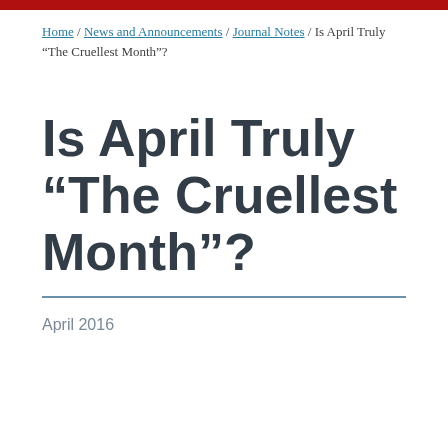Home / News and Announcements / Journal Notes / Is April Truly “The Cruellest Month”?
Is April Truly “The Cruellest Month”?
April 2016